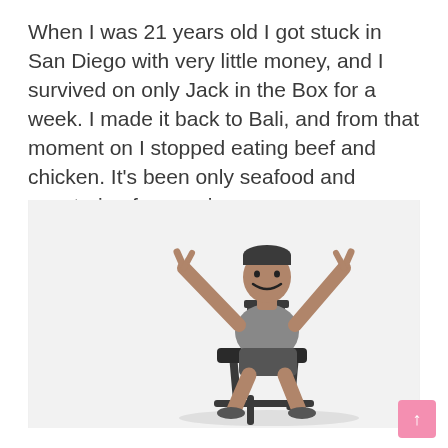When I was 21 years old I got stuck in San Diego with very little money, and I survived on only Jack in the Box for a week. I made it back to Bali, and from that moment on I stopped eating beef and chicken. It's been only seafood and vegetarian for me since.
[Figure (photo): Black and white photo of a smiling young man sitting on a chair with both arms raised and hands making rock-on gestures, wearing a t-shirt and shorts]